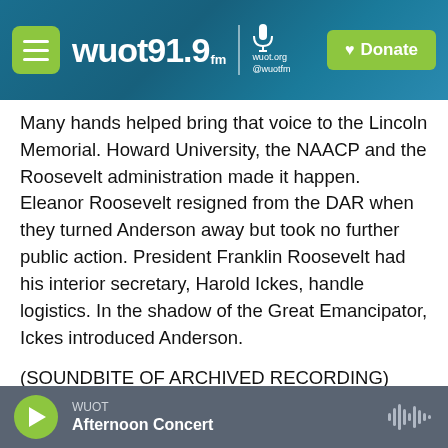[Figure (logo): WUOT 91.9 FM radio station header bar with hamburger menu, station logo, microphone icon, and green Donate button]
Many hands helped bring that voice to the Lincoln Memorial. Howard University, the NAACP and the Roosevelt administration made it happen. Eleanor Roosevelt resigned from the DAR when they turned Anderson away but took no further public action. President Franklin Roosevelt had his interior secretary, Harold Ickes, handle logistics. In the shadow of the Great Emancipator, Ickes introduced Anderson.
(SOUNDBITE OF ARCHIVED RECORDING)
HAROLD ICKES: In this great auditorium under the
WUOT  Afternoon Concert